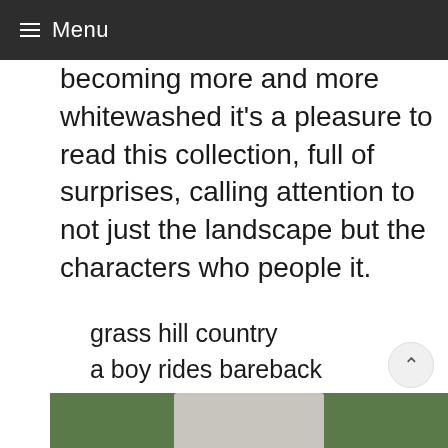≡ Menu
becoming more and more whitewashed it's a pleasure to read this collection, full of surprises, calling attention to not just the landscape but the characters who people it.
grass hill country
a boy rides bareback
over red earth
[Figure (photo): Partial view of a grey stone or rock object on green grass, visible at the bottom of the page]